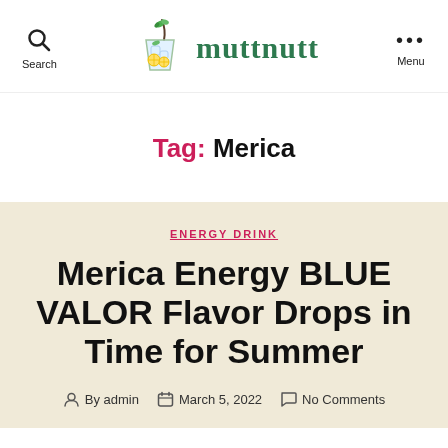muttnutt — Search | Menu
Tag: Merica
ENERGY DRINK
Merica Energy BLUE VALOR Flavor Drops in Time for Summer
By admin  March 5, 2022  No Comments